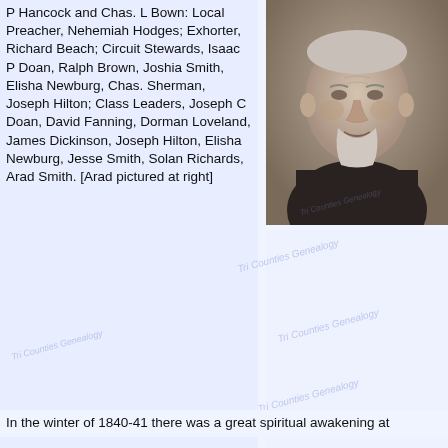P Hancock and Chas. L Bown: Local Preacher, Nehemiah Hodges; Exhorter, Richard Beach; Circuit Stewards, Isaac P Doan, Ralph Brown, Joshia Smith, Elisha Newburg, Chas. Sherman, Joseph Hilton; Class Leaders, Joseph C Doan, David Fanning, Dorman Loveland, James Dickinson, Joseph Hilton, Elisha Newburg, Jesse Smith, Solan Richards, Arad Smith. [Arad pictured at right]
[Figure (photo): Sepia-toned portrait photograph of an elderly man wearing a dark suit and bow tie, shown from approximately the chest up, facing slightly to the left.]
In the winter of 1840-41 there was a great spiritual awakening at